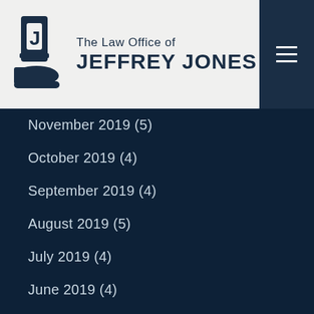[Figure (logo): The Law Office of Jeffrey Jones logo with boot icon and text]
November 2019 (5)
October 2019 (4)
September 2019 (4)
August 2019 (5)
July 2019 (4)
June 2019 (4)
May 2019 (5)
April 2019 (4)
March 2019 (5)
February 2019 (4)